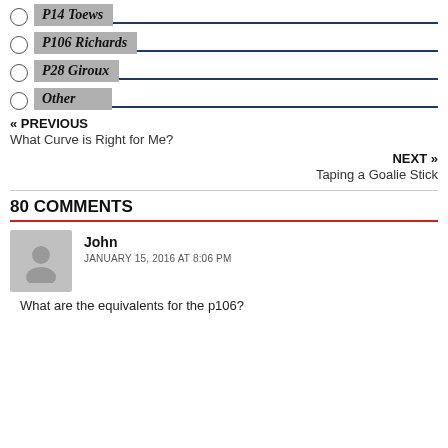P14 Toews
P106 Richards
P28 Giroux
Other
« PREVIOUS
What Curve is Right for Me?
NEXT »
Taping a Goalie Stick
80 COMMENTS
John
JANUARY 15, 2016 AT 8:06 PM
What are the equivalents for the p106?